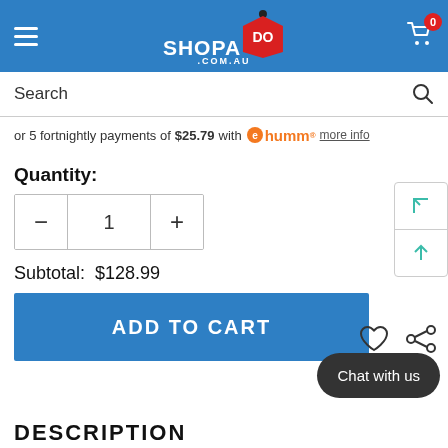SHOPADO.COM.AU — Cart: 0
Search
or 5 fortnightly payments of $25.79 with humm more info
Quantity:
1
Subtotal: $128.99
ADD TO CART
Chat with us
DESCRIPTION